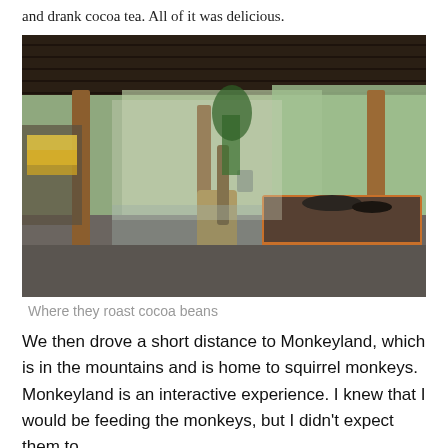and drank cocoa tea. All of it was delicious.
[Figure (photo): An open-air wooden shelter with a thatched roof where cocoa beans are processed. A large wooden mortar/pestle stands in the foreground, with raised wooden processing tables visible in the background. Tropical vegetation can be seen outside the shelter.]
Where they roast cocoa beans
We then drove a short distance to Monkeyland, which is in the mountains and is home to squirrel monkeys. Monkeyland is an interactive experience. I knew that I would be feeding the monkeys, but I didn't expect them to